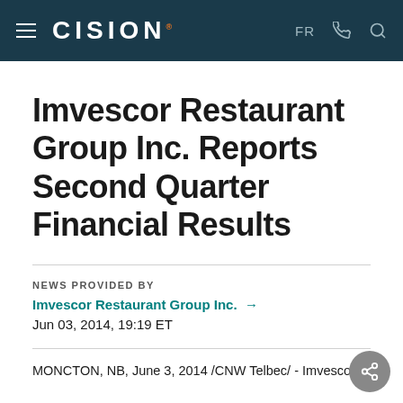CISION
Imvescor Restaurant Group Inc. Reports Second Quarter Financial Results
NEWS PROVIDED BY
Imvescor Restaurant Group Inc. →
Jun 03, 2014, 19:19 ET
MONCTON, NB, June 3, 2014 /CNW Telbec/ - Imvescor